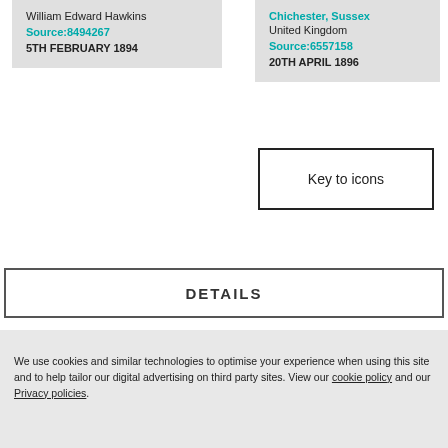William Edward Hawkins
Source:8494267
5TH FEBRUARY 1894
Chichester, Sussex
United Kingdom
Source:6557158
20TH APRIL 1896
Key to icons
DETAILS
We use cookies and similar technologies to optimise your experience when using this site and to help tailor our digital advertising on third party sites. View our cookie policy and our Privacy policies.